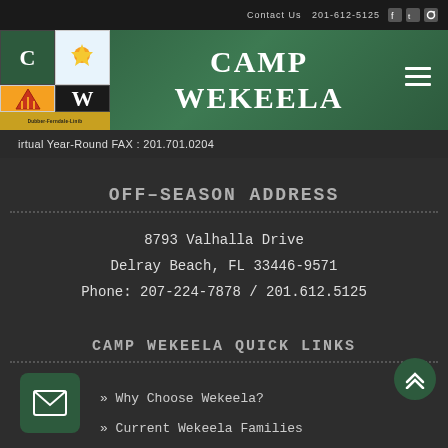Contact Us 201-612-5125
CAMP WEKEELA
irtual Year-Round FAX : 201.701.0204
OFF-SEASON ADDRESS
8793 Valhalla Drive
Delray Beach, FL 33446-9571
Phone: 207-224-7878 / 201.612.5125
CAMP WEKEELA QUICK LINKS
» Why Choose Wekeela?
» Current Wekeela Families